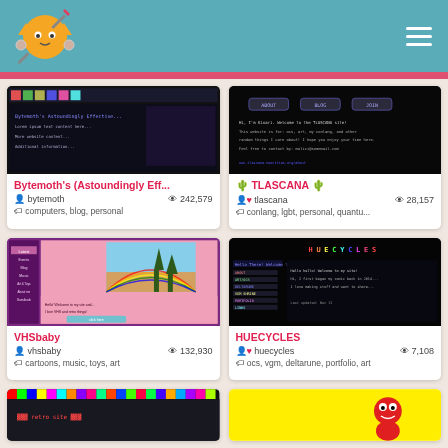Neocities header with logo and menu
[Figure (screenshot): Bytemoth website screenshot - dark background with text]
Bytemoth's (Astoundingly Eff...
bytemoth   242,579
computers, blog, personal
[Figure (screenshot): TLASCANA website screenshot - black background with nav buttons ABOUT BLOG JOIN]
🌵 TLASCANA 🌵
tlascana   28,157
conlang, lgbt, personal, quantu...
[Figure (screenshot): VHSbaby website screenshot - purple/pink retro design with rainbow image]
VHSbaby
vhsbaby   132,930
cartoons, music, toys, art
[Figure (screenshot): HUECYCLES website screenshot - black background with colorful HUECYCLES logo]
HUECYCLES
huecycles   7,108
ocs, vgm, deltarune, portfolio, art
[Figure (screenshot): Bottom left website screenshot - dark colorful pattern]
[Figure (screenshot): Bottom right website screenshot - yellow background with red character]